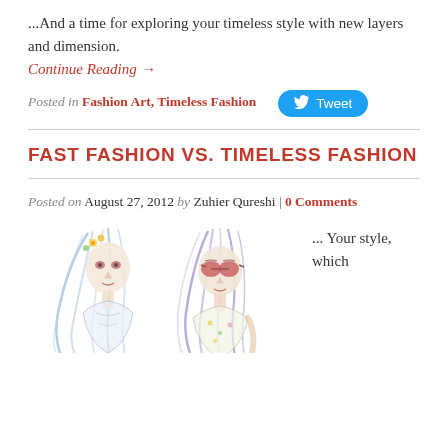...And a time for exploring your timeless style with new layers and dimension.
Continue Reading →
Posted in Fashion Art, Timeless Fashion
[Figure (screenshot): Twitter Tweet button, blue rounded rectangle with bird icon and 'Tweet' text]
FAST FASHION VS. TIMELESS FASHION
Posted on August 27, 2012 by Zuhier Qureshi | 0 Comments
[Figure (illustration): Two fashion illustration sketches of stylized women with flowing hair, one with flowers wearing sunglasses, colorful watercolor style]
... Your style, which